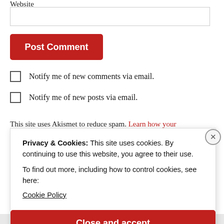Website
Post Comment
Notify me of new comments via email.
Notify me of new posts via email.
This site uses Akismet to reduce spam. Learn how your
Privacy & Cookies: This site uses cookies. By continuing to use this website, you agree to their use.
To find out more, including how to control cookies, see here:
Cookie Policy
Close and accept